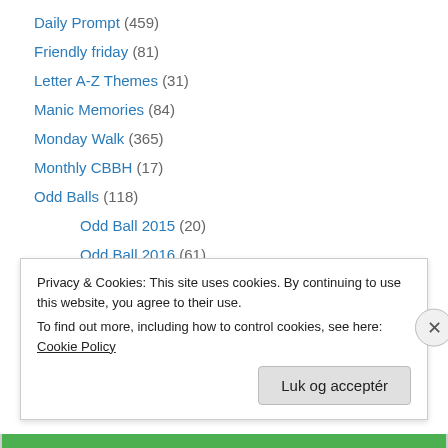Daily Prompt (459)
Friendly friday (81)
Letter A-Z Themes (31)
Manic Memories (84)
Monday Walk (365)
Monthly CBBH (17)
Odd Balls (118)
Odd Ball 2015 (20)
Odd Ball 2016 (61)
Odd Ball 2017 (33)
Odd Balls 2020 (3)
Other Themes (34)
Photography 101 (20)
Privacy & Cookies: This site uses cookies. By continuing to use this website, you agree to their use. To find out more, including how to control cookies, see here: Cookie Policy
Luk og acceptér